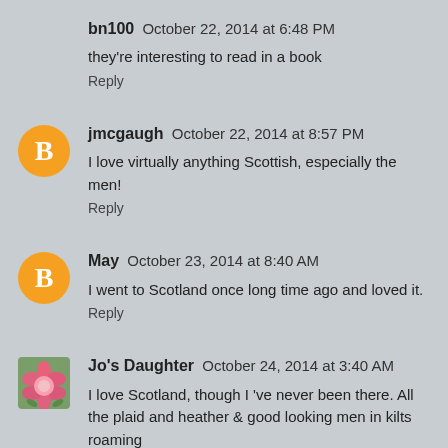bn100   October 22, 2014 at 6:48 PM
they're interesting to read in a book
Reply
jmcgaugh   October 22, 2014 at 8:57 PM
I love virtually anything Scottish, especially the men!
Reply
May   October 23, 2014 at 8:40 AM
I went to Scotland once long time ago and loved it.
Reply
Jo's Daughter   October 24, 2014 at 3:40 AM
I love Scotland, though I 've never been there. All the plaid and heather & good looking men in kilts roaming